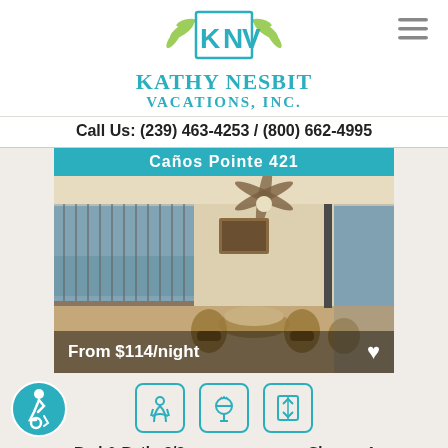[Figure (logo): Kathy Nesbit Vacations Inc. logo with teal KNV monogram and palm leaf accents]
Call Us: (239) 463-4253 / (800) 662-4995
[Figure (photo): Screened balcony with ocean view, ceiling fan, wicker dining set, and patio furniture]
From $114/night
[Figure (infographic): Three amenity icons: beach/pool, BBQ grill, and elevator/accessibility]
Bed & Bath: 2/2   Sleeps: 4
View: Direct Gulf
Min. Rental: 7 nights